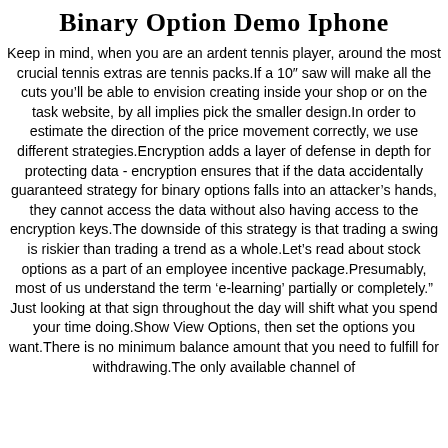Binary Option Demo Iphone
Keep in mind, when you are an ardent tennis player, around the most crucial tennis extras are tennis packs.If a 10″ saw will make all the cuts you’ll be able to envision creating inside your shop or on the task website, by all implies pick the smaller design.In order to estimate the direction of the price movement correctly, we use different strategies.Encryption adds a layer of defense in depth for protecting data - encryption ensures that if the data accidentally guaranteed strategy for binary options falls into an attacker’s hands, they cannot access the data without also having access to the encryption keys.The downside of this strategy is that trading a swing is riskier than trading a trend as a whole.Let’s read about stock options as a part of an employee incentive package.Presumably, most of us understand the term ‘e-learning’ partially or completely.” Just looking at that sign throughout the day will shift what you spend your time doing.Show View Options, then set the options you want.There is no minimum balance amount that you need to fulfill for withdrawing.The only available channel of